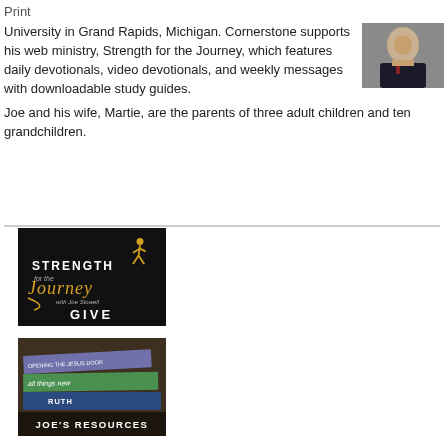Print
[Figure (photo): Headshot of Joe Stowell, a middle-aged man in a dark suit and tie, smiling]
University in Grand Rapids, Michigan. Cornerstone supports his web ministry, Strength for the Journey, which features daily devotionals, video devotionals, and weekly messages with downloadable study guides.
Joe and his wife, Martie, are the parents of three adult children and ten grandchildren.
[Figure (illustration): Strength for the Journey with Joe Stowell banner with GIVE button, dark background with gold runner icon]
[Figure (photo): Stack of books with JOE'S RESOURCES text overlay, books include titles about Jesus and 'all things new' and RUTH]